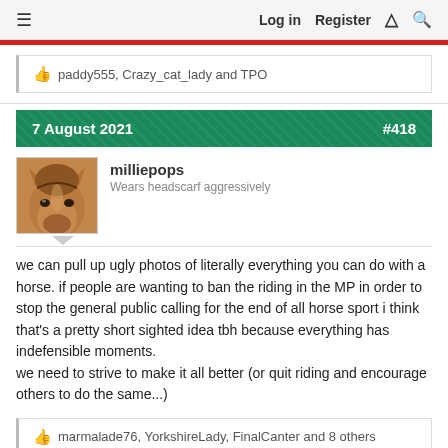Log in  Register  ⚡  🔍
👍 paddy555, Crazy_cat_lady and TPO
7 August 2021  #418
[Figure (photo): Avatar of a horse closeup, brown/chestnut color]
milliepops
Wears headscarf aggressively
we can pull up ugly photos of literally everything you can do with a horse. if people are wanting to ban the riding in the MP in order to stop the general public calling for the end of all horse sport i think that's a pretty short sighted idea tbh because everything has indefensible moments.
we need to strive to make it all better (or quit riding and encourage others to do the same...)
👍 marmalade76, YorkshireLady, FinalCanter and 8 others